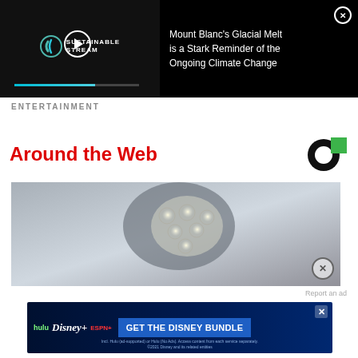[Figure (screenshot): Video player thumbnail showing Sustainable Stream logo with play button and progress bar]
Mount Blanc’s Glacial Melt is a Stark Reminder of the Ongoing Climate Change
ENTERTAINMENT
Around the Web
[Figure (logo): Sponsored content logo - circular C shape with green square]
[Figure (photo): Close-up photo of a LED lamp or lighting device on a surface]
Report an ad
[Figure (screenshot): Disney Bundle advertisement banner with Hulu, Disney+, ESPN+ logos and GET THE DISNEY BUNDLE CTA]